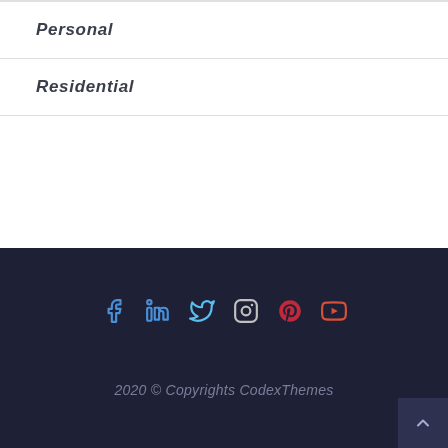Personal
Residential
[Figure (infographic): Social media icons row: Facebook, LinkedIn, Twitter, Instagram, Pinterest, YouTube]
2020 © Copyrights CodexThemes